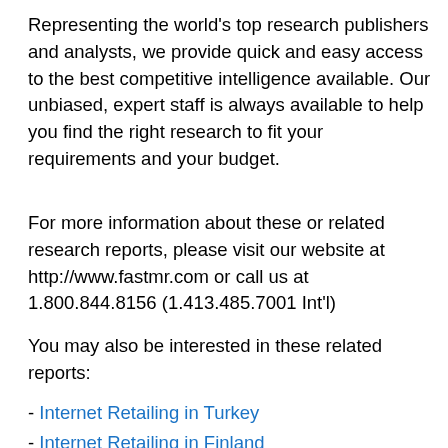Representing the world's top research publishers and analysts, we provide quick and easy access to the best competitive intelligence available. Our unbiased, expert staff is always available to help you find the right research to fit your requirements and your budget.
For more information about these or related research reports, please visit our website at http://www.fastmr.com or call us at 1.800.844.8156 (1.413.485.7001 Int'l)
You may also be interested in these related reports:
- Internet Retailing in Turkey
- Internet Retailing in Finland